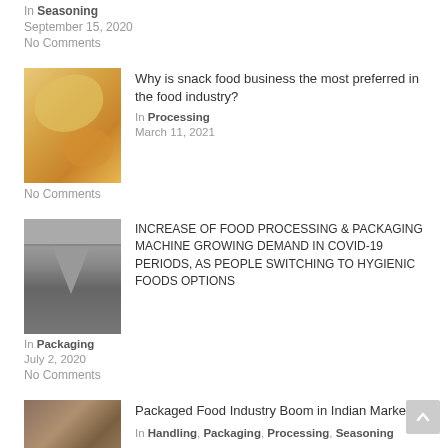In Seasoning
September 15, 2020
No Comments
[Figure (photo): Photo of potato chips on a wooden plate]
Why is snack food business the most preferred in the food industry?
In Processing
March 11, 2021
No Comments
[Figure (photo): Photo of industrial food processing/packaging machine, metallic funnel shape]
INCREASE OF FOOD PROCESSING & PACKAGING MACHINE GROWING DEMAND IN COVID-19 PERIODS, AS PEOPLE SWITCHING TO HYGIENIC FOODS OPTIONS
In Packaging
July 2, 2020
No Comments
[Figure (photo): Photo of packaged food industrial equipment]
Packaged Food Industry Boom in Indian Market
In Handling, Packaging, Processing, Seasoning